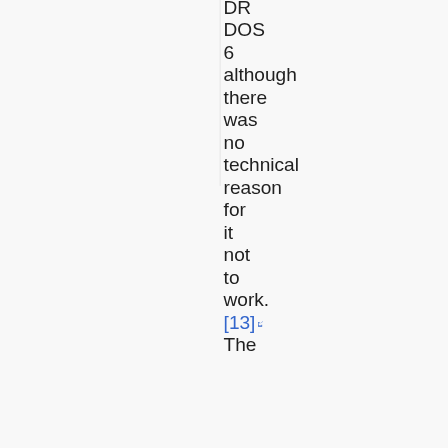DR DOS 6 although there was no technical reason for it not to work. [13] The